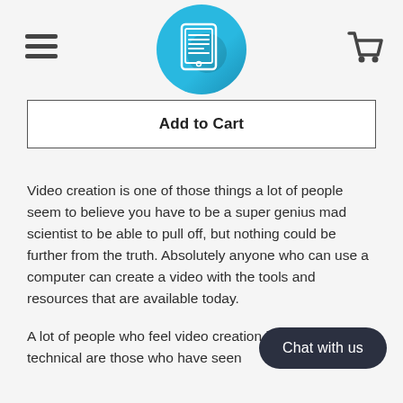[Figure (logo): Blue circular logo with a white tablet/document icon showing lines of text]
[Figure (illustration): Hamburger menu icon (three horizontal lines) at top left]
[Figure (illustration): Shopping cart icon at top right]
Add to Cart
Video creation is one of those things a lot of people seem to believe you have to be a super genius mad scientist to be able to pull off, but nothing could be further from the truth. Absolutely anyone who can use a computer can create a video with the tools and resources that are available today.
A lot of people who feel video creation is extremely technical are those who have seen
Chat with us